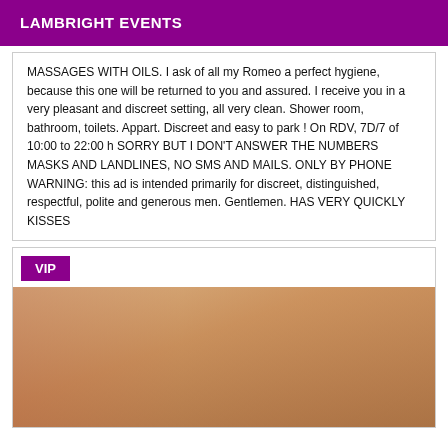LAMBRIGHT EVENTS
MASSAGES WITH OILS. I ask of all my Romeo a perfect hygiene, because this one will be returned to you and assured. I receive you in a very pleasant and discreet setting, all very clean. Shower room, bathroom, toilets. Appart. Discreet and easy to park ! On RDV, 7D/7 of 10:00 to 22:00 h SORRY BUT I DON'T ANSWER THE NUMBERS MASKS AND LANDLINES, NO SMS AND MAILS. ONLY BY PHONE WARNING: this ad is intended primarily for discreet, distinguished, respectful, polite and generous men. Gentlemen. HAS VERY QUICKLY KISSES
[Figure (photo): VIP listing with photo of a woman with long brown hair against a colorful background with red heart shapes]